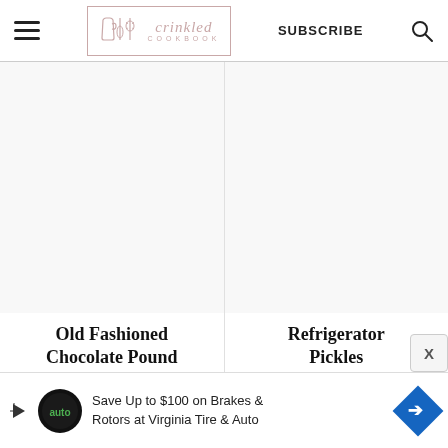Crinkled Cookbook — SUBSCRIBE
[Figure (photo): White blank image placeholder for Old Fashioned Chocolate Pound cake card]
Old Fashioned Chocolate Pound
[Figure (photo): White blank image placeholder for Refrigerator Pickles card]
Refrigerator Pickles
Save Up to $100 on Brakes & Rotors at Virginia Tire & Auto